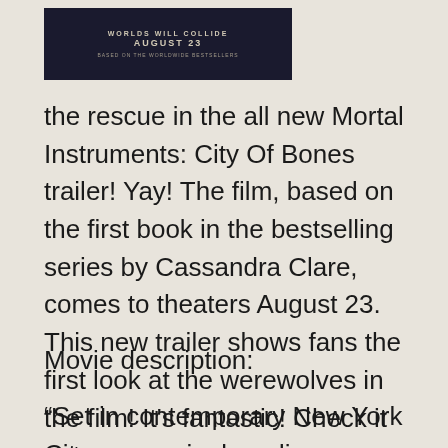[Figure (photo): Dark movie banner/poster for Mortal Instruments with text 'WORLDS WILL COLLIDE AUGUST 23 BASED ON THE WORLDWIDE BESTSELLERS']
the rescue in the all new Mortal Instruments: City Of Bones trailer! Yay! The film, based on the first book in the bestselling series by Cassandra Clare, comes to theaters August 23. This new trailer shows fans the first look at the werewolves in the film! It's fantastic! Check it out.
Movie description:
“Set in contemporary New York City, a seemingly ordinary teenager, Clary Fray (Lily